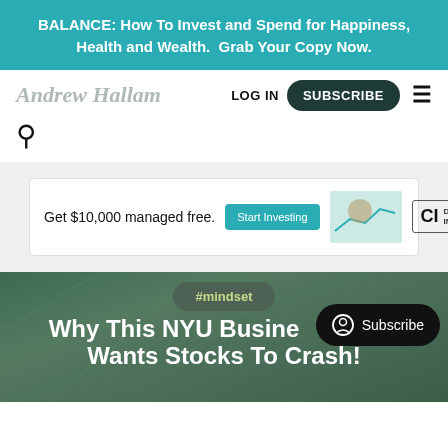BALANCE: How To Invest and Spend for Happiness, Health and Wealth.  Grab Your Copy Now.
Andrew Hallam
LOG IN
SUBSCRIBE
[Figure (screenshot): CI Direct Investing advertisement banner: 'Get $10,000 managed free.' with Start Investing button and CI Direct Investing logo]
#mindset
Why This NYU Business Dean’t Wants Stocks To Crash!